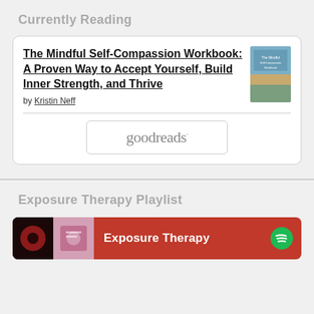Currently Reading
The Mindful Self-Compassion Workbook: A Proven Way to Accept Yourself, Build Inner Strength, and Thrive
by Kristin Neff
[Figure (logo): goodreads button/logo inside a rounded rectangle border]
Exposure Therapy Playlist
[Figure (screenshot): Spotify playlist card with red background showing 'Exposure Therapy' playlist title and Spotify logo icon, with two small album art thumbnails on the left]